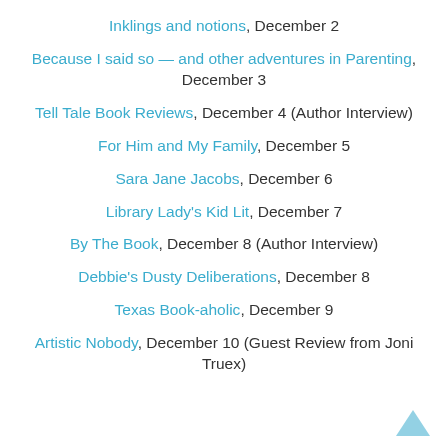Inklings and notions, December 2
Because I said so — and other adventures in Parenting, December 3
Tell Tale Book Reviews, December 4 (Author Interview)
For Him and My Family, December 5
Sara Jane Jacobs, December 6
Library Lady's Kid Lit, December 7
By The Book, December 8 (Author Interview)
Debbie's Dusty Deliberations, December 8
Texas Book-aholic, December 9
Artistic Nobody, December 10 (Guest Review from Joni Truex)